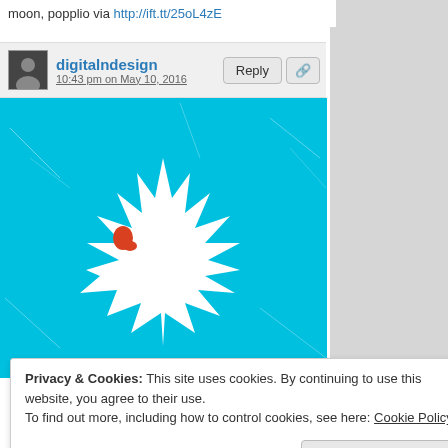moon, popplio via http://ift.tt/25oL4zE
digitalndesign
10:43 pm on May 10, 2016
[Figure (illustration): Cyan/turquoise background with a white starburst/explosion shape in the center. A small red shape appears to the left of the starburst. Light scratch lines cross the background.]
Privacy & Cookies: This site uses cookies. By continuing to use this website, you agree to their use.
To find out more, including how to control cookies, see here: Cookie Policy
Close and accept